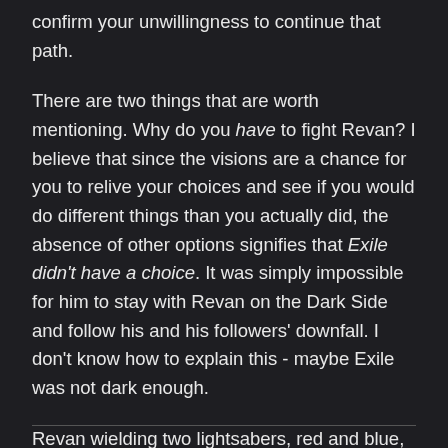confirm your unwillingness to continue that path.
There are two things that are worth mentioning. Why do you have to fight Revan? I believe that since the visions are a chance for you to relive your choices and see if you would do different things than you actually did, the absence of other options signifies that Exile didn't have a choice. It was simply impossible for him to stay with Revan on the Dark Side and follow his and his followers' downfall. I don't know how to explain this - maybe Exile was not dark enough.
Revan wielding two lightsabers, red and blue, can mean that he changed his alignment several times, as well as the ambiguous ending of KOTOR I.